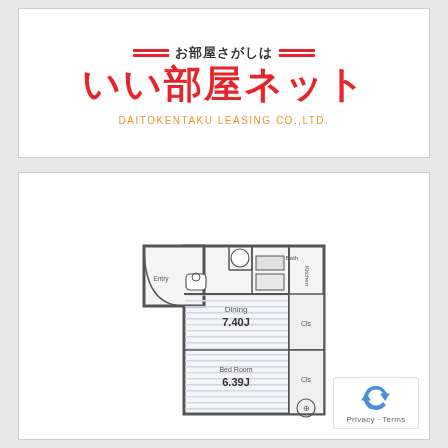[Figure (logo): いい部屋ネット (iHeya Net) logo with red double-line decoration and text お部屋さがしは above main logo text]
DAITOKENTAKU LEASING CO.,LTD.
[Figure (engineering-diagram): Apartment floor plan showing: Dining room 7.40J, Bed Room 6.39J, Kitchen area, Bath, closets (Cls), entry, and other rooms with sliding doors indicated]